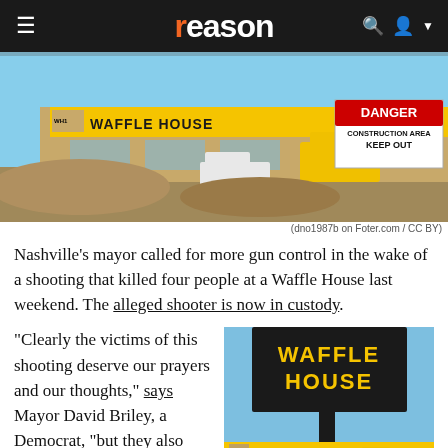reason
[Figure (photo): Construction site with Waffle House building, excavator machinery, dirt mounds, and a red DANGER CONSTRUCTION AREA KEEP OUT sign]
(dno1987b on Foter.com / CC BY)
Nashville's mayor called for more gun control in the wake of a shooting that killed four people at a Waffle House last weekend. The alleged shooter is now in custody.
"Clearly the victims of this shooting deserve our prayers and our thoughts," says Mayor David Briley, a Democrat, "but they also deserve leaders who will step up and
[Figure (photo): Waffle House sign on tall pole with WAFFLE HOUSE in yellow letters on black background, construction site and DANGER KEEP OUT sign visible below]
dno1987b on Foter.com / CC BY